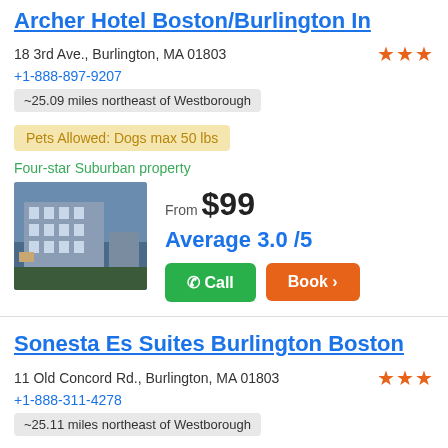Archer Hotel Boston/Burlington In
18 3rd Ave., Burlington, MA 01803
+1-888-897-9207
~25.09 miles northeast of Westborough
Pets Allowed: Dogs max 50 lbs
Four-star Suburban property
From $99
Average 3.0 /5
Call
Book >
Sonesta Es Suites Burlington Boston
11 Old Concord Rd., Burlington, MA 01803
+1-888-311-4278
~25.11 miles northeast of Westborough
Pets Allowed Policy: We are pet-friendly! We allow for up to two (2) pets per room and the following non-refundable sanitation fee applies: • $25.00 + tax per night for a 1-3 night length of stay • $75.00 + tax one-time charge for 4-29